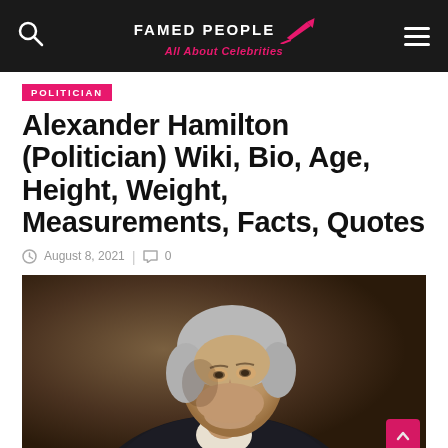FAMED PEOPLE All About Celebrities
POLITICIAN
Alexander Hamilton (Politician) Wiki, Bio, Age, Height, Weight, Measurements, Facts, Quotes
August 8, 2021  |  0
[Figure (photo): Portrait painting of Alexander Hamilton, showing him in 3/4 profile facing right, with white/gray powdered hair, wearing a dark coat with white cravat, against a dark brown background.]